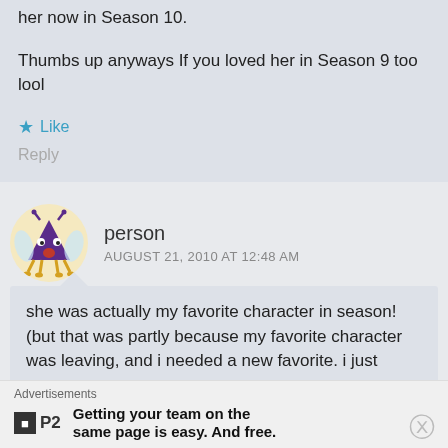her now in Season 10.
Thumbs up anyways If you loved her in Season 9 too lool
Like
Reply
person
AUGUST 21, 2010 AT 12:48 AM
she was actually my favorite character in season! (but that was partly because my favorite character was leaving, and i needed a new favorite. i just
Advertisements
Getting your team on the same page is easy. And free.